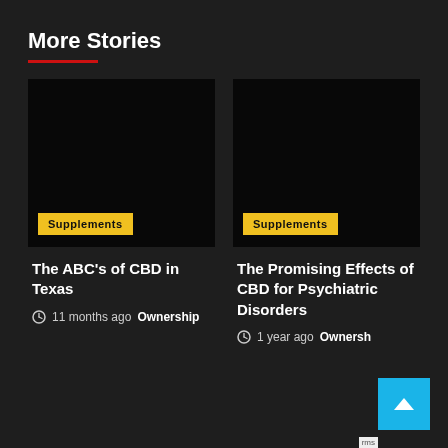More Stories
[Figure (photo): Dark/black thumbnail image for article 'The ABC's of CBD in Texas' with a yellow 'Supplements' badge overlay]
[Figure (photo): Dark/black thumbnail image for article 'The Promising Effects of CBD for Psychiatric Disorders' with a yellow 'Supplements' badge overlay]
The ABC's of CBD in Texas
11 months ago  Ownership
The Promising Effects of CBD for Psychiatric Disorders
1 year ago  Ownership